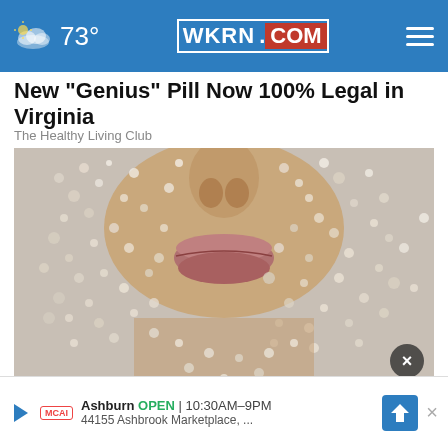73° WKRN.COM
New "Genius" Pill Now 100% Legal in Virginia
The Healthy Living Club
[Figure (photo): Close-up photo of a person's lower face (nose, lips, chin) covered in sugar crystals or salt granules, on a light grey background. A dark circular close button is visible in the bottom right of the image.]
Doc... Cra...
Ashburn OPEN 10:30AM–9PM 44155 Ashbrook Marketplace, ...